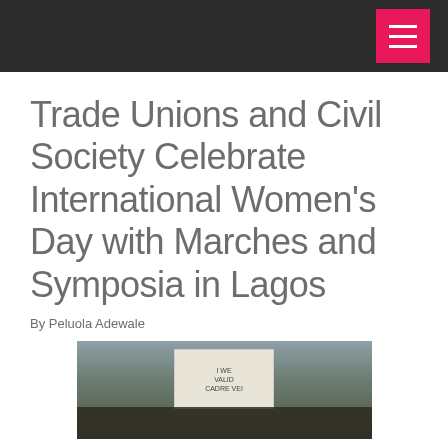Trade Unions and Civil Society Celebrate International Women’s Day with Marches and Symposia in Lagos
By Peluola Adewale
[Figure (photo): Crowd of protesters holding a large hand-written sign at a march, likely related to International Women's Day in Lagos]